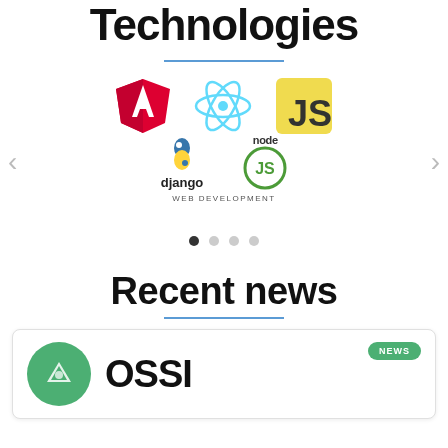Technologies
[Figure (illustration): A carousel of web development technology logos: Angular (red shield with A), React (blue atom icon), JavaScript (yellow JS badge), Python/Django (green snake logos with 'django' text), Node.js (green circle with JS text and 'node' text). Below logos is text 'WEB DEVELOPMENT'. Four carousel indicator dots shown with first dot active. Left and right navigation arrows on sides.]
Recent news
[Figure (screenshot): A news card with a green 'NEWS' badge in the top right corner, a green circular icon with a white flame/mountain logo on the left, and large bold black text 'OSSI' partially visible on the right.]